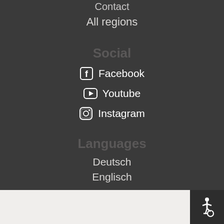Contact
All regions
Social
Facebook
Youtube
Instagram
Languages
Deutsch
Englisch
[Figure (illustration): Accessibility wheelchair icon button in dark background at bottom right corner]